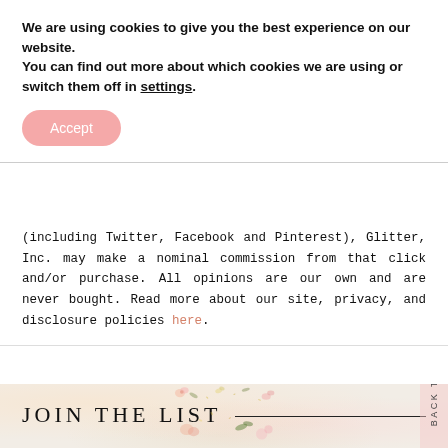We are using cookies to give you the best experience on our website.
You can find out more about which cookies we are using or switch them off in settings.
Accept
(including Twitter, Facebook and Pinterest), Glitter, Inc. may make a nominal commission from that click and/or purchase. All opinions are our own and are never bought. Read more about our site, privacy, and disclosure policies here.
JOIN THE LIST
Get inspired and join us for real life stories, behind-the-scenes, tips on the best sales, and exclusive content sent straight to your inbox. Choose how often you want emails and unsubscribe at any time.